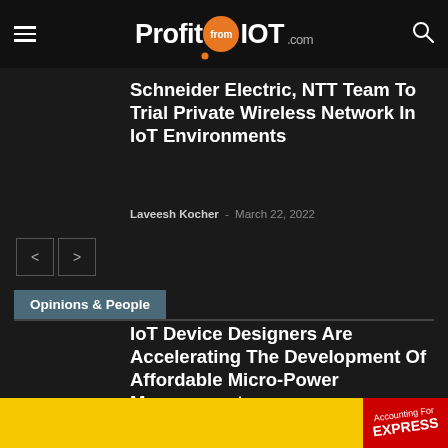ProfitfromIOT.com
Schneider Electric, NTT Team To Trial Private Wireless Network In IoT Environments
Laveesh Kocher - March 22, 2022
Opinions & People
IoT Device Designers Are Accelerating The Development Of Affordable Micro-Power Management
Laveesh Kocher - August 5, 2022
As IoT Beckons, Pantami Guarantees